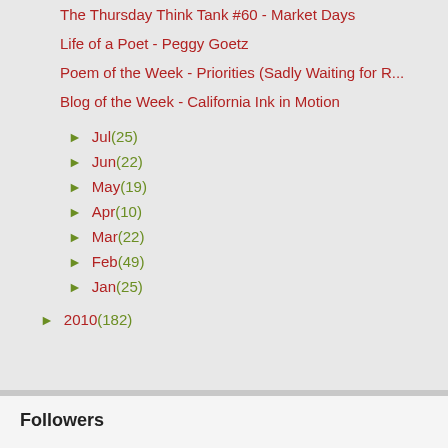The Thursday Think Tank #60 - Market Days
Life of a Poet - Peggy Goetz
Poem of the Week - Priorities (Sadly Waiting for R...
Blog of the Week - California Ink in Motion
► Jul (25)
► Jun (22)
► May (19)
► Apr (10)
► Mar (22)
► Feb (49)
► Jan (25)
► 2010 (182)
Followers